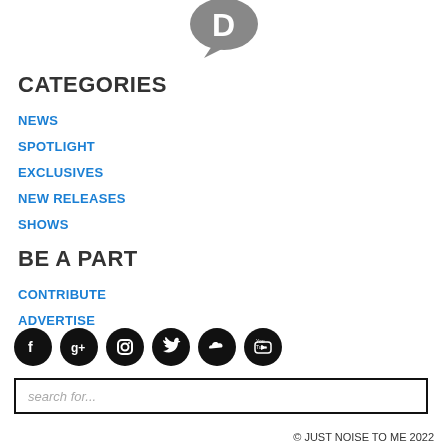[Figure (logo): Disqus logo bubble icon in grey at top center]
CATEGORIES
NEWS
SPOTLIGHT
EXCLUSIVES
NEW RELEASES
SHOWS
BE A PART
CONTRIBUTE
ADVERTISE
[Figure (illustration): Row of 6 social media icons: Facebook, Google+, Instagram, Twitter, SoundCloud, YouTube — all black circles with white icons]
search for...
© JUST NOISE TO ME 2022